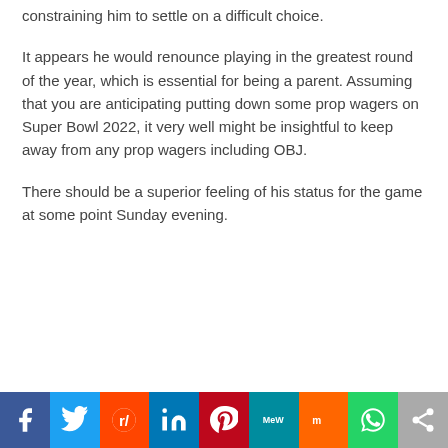constraining him to settle on a difficult choice.
It appears he would renounce playing in the greatest round of the year, which is essential for being a parent. Assuming that you are anticipating putting down some prop wagers on Super Bowl 2022, it very well might be insightful to keep away from any prop wagers including OBJ.
There should be a superior feeling of his status for the game at some point Sunday evening.
[Figure (infographic): Social sharing bar with icons for Facebook, Twitter, Reddit, LinkedIn, Pinterest, MeWe, Mix, WhatsApp, and Share.]